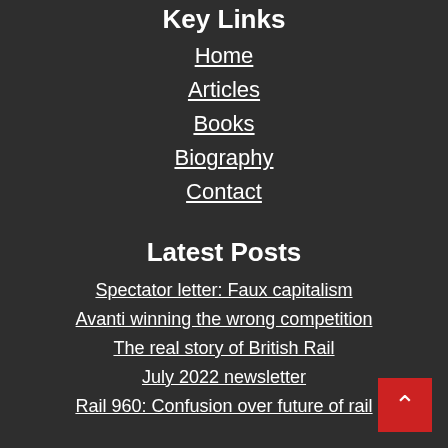Key Links
Home
Articles
Books
Biography
Contact
Latest Posts
Spectator letter: Faux capitalism
Avanti winning the wrong competition
The real story of British Rail
July 2022 newsletter
Rail 960: Confusion over future of rail